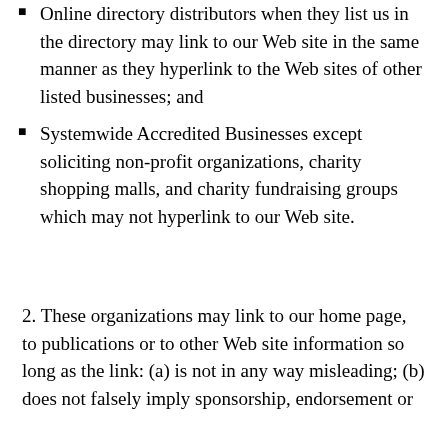Online directory distributors when they list us in the directory may link to our Web site in the same manner as they hyperlink to the Web sites of other listed businesses; and
Systemwide Accredited Businesses except soliciting non-profit organizations, charity shopping malls, and charity fundraising groups which may not hyperlink to our Web site.
2. These organizations may link to our home page, to publications or to other Web site information so long as the link: (a) is not in any way misleading; (b) does not falsely imply sponsorship, endorsement or